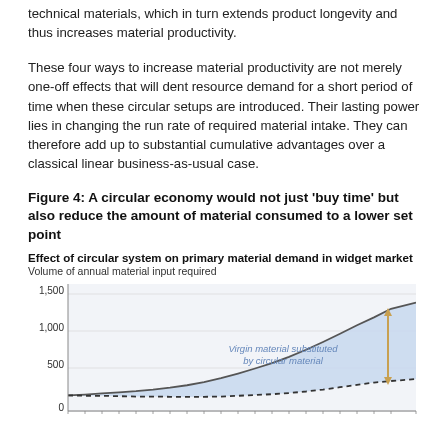technical materials, which in turn extends product longevity and thus increases material productivity.
These four ways to increase material productivity are not merely one-off effects that will dent resource demand for a short period of time when these circular setups are introduced. Their lasting power lies in changing the run rate of required material intake. They can therefore add up to substantial cumulative advantages over a classical linear business-as-usual case.
Figure 4: A circular economy would not just ‘buy time’ but also reduce the amount of material consumed to a lower set point
[Figure (area-chart): Effect of circular system on primary material demand in widget market]